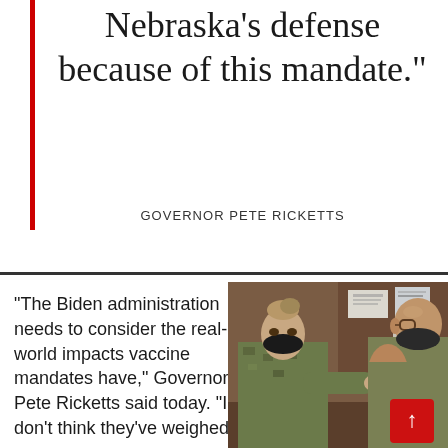Nebraska’s defense because of this mandate.”
GOVERNOR PETE RICKETTS
“The Biden administration needs to consider the real-world impacts vaccine mandates have,” Governor Pete Ricketts said today. “I don’t think they’ve weighed
[Figure (photo): A military service member in camouflage uniform receiving a vaccine injection from another uniformed person wearing a black mask, both in an indoor military setting with papers on the wall in the background.]